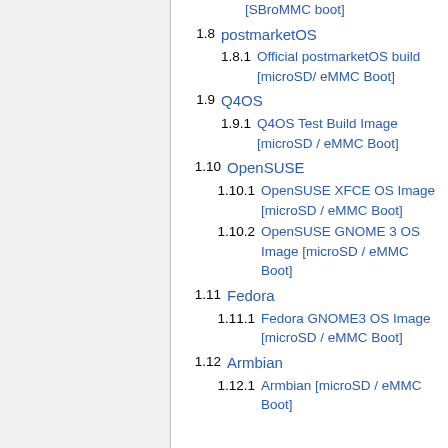[SBroMMC Boot]
1.8  postmarketOS
1.8.1  Official postmarketOS build [microSD/ eMMC Boot]
1.9  Q4OS
1.9.1  Q4OS Test Build Image [microSD / eMMC Boot]
1.10  OpenSUSE
1.10.1  OpenSUSE XFCE OS Image [microSD / eMMC Boot]
1.10.2  OpenSUSE GNOME 3 OS Image [microSD / eMMC Boot]
1.11  Fedora
1.11.1  Fedora GNOME3 OS Image [microSD / eMMC Boot]
1.12  Armbian
1.12.1  Armbian [microSD / eMMC Boot]